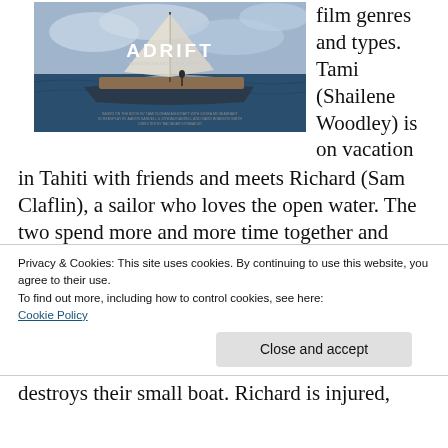[Figure (photo): Movie poster for 'Adrift' showing a sailboat on the ocean with a person standing on it, cloudy sky, film credits text at bottom of poster]
film genres and types. Tami (Shailene Woodley) is on vacation in Tahiti with friends and meets Richard (Sam Claflin), a sailor who loves the open water. The two spend more and more time together and when he's offered the chance to sail someone's boat back to California, she joins him, figuring
Privacy & Cookies: This site uses cookies. By continuing to use this website, you agree to their use.
To find out more, including how to control cookies, see here:
Cookie Policy
Close and accept
destroys their small boat. Richard is injured,